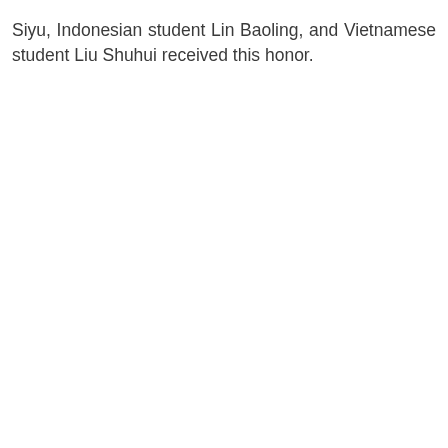Siyu, Indonesian student Lin Baoling, and Vietnamese student Liu Shuhui received this honor.